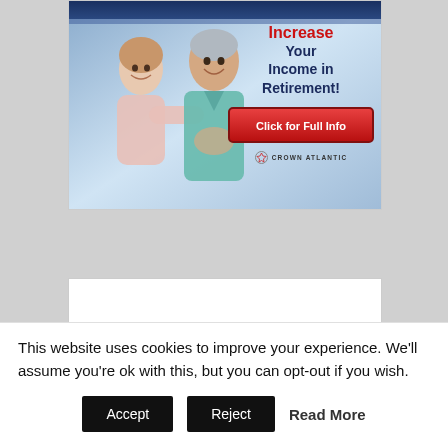[Figure (illustration): Advertisement banner showing a smiling older couple. Text reads 'Increase Your Income in Retirement!' with a red 'Click for Full Info' button and Crown Atlantic logo.]
Popular Content
This website uses cookies to improve your experience. We'll assume you're ok with this, but you can opt-out if you wish.
Accept   Reject   Read More